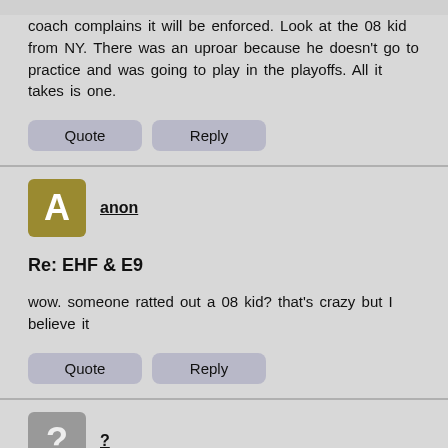coach complains it will be enforced. Look at the 08 kid from NY. There was an uproar because he doesn't go to practice and was going to play in the playoffs. All it takes is one.
Quote
Reply
anon
Re: EHF & E9
wow. someone ratted out a 08 kid? that's crazy but I believe it
Quote
Reply
?